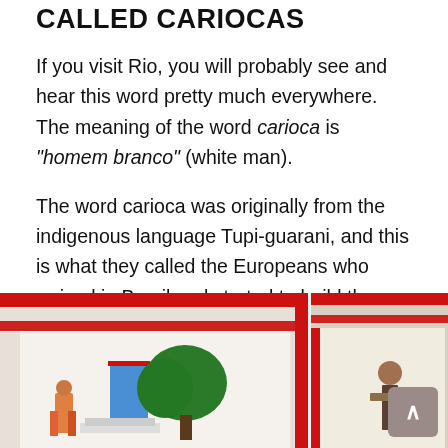CALLED CARIOCAS
If you visit Rio, you will probably see and hear this word pretty much everywhere. The meaning of the word carioca is “homem branco” (white man).
The word carioca was originally from the indigenous language Tupi-guarani, and this is what they called the Europeans who arrived in Brazil and started to build the city.
[Figure (photo): Street scene in Rio de Janeiro showing colorful red-and-white buildings, a tree, and people in a lively urban setting.]